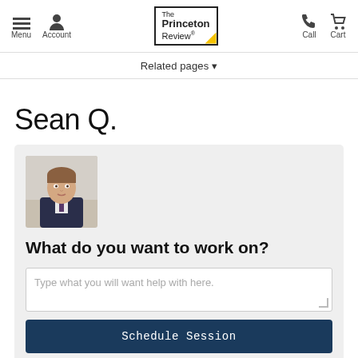[Figure (screenshot): The Princeton Review website navigation bar with Menu, Account icons on left, The Princeton Review logo in center, Call and Cart icons on right]
Related pages ▾
Sean Q.
[Figure (photo): Tutor profile photo of a young man in a suit]
What do you want to work on?
Type what you will want help with here.
Schedule Session